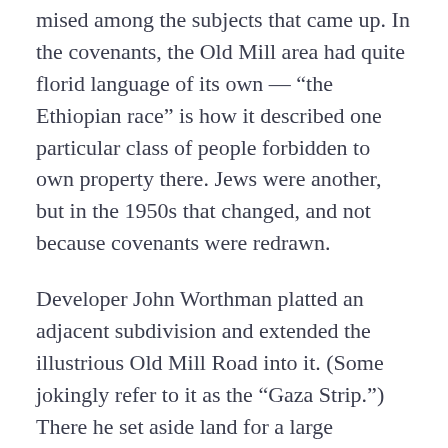mised among the subjects that came up. In the covenants, the Old Mill area had quite florid language of its own — “the Ethiopian race” is how it described one particular class of people forbidden to own property there. Jews were another, but in the 1950s that changed, and not because covenants were redrawn.
Developer John Worthman platted an adjacent subdivision and extended the illustrious Old Mill Road into it. (Some jokingly refer to it as the “Gaza Strip.”) There he set aside land for a large synagogue and a Unitarian meeting house and surrounded them with a more modern mix of opulent and upper-